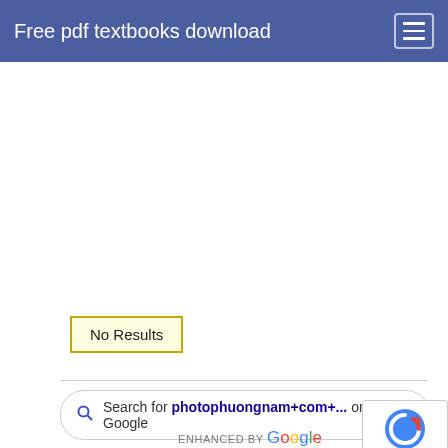Free pdf textbooks download
No Results
Search for photophuongnam+com+... on Google
ENHANCED BY Google